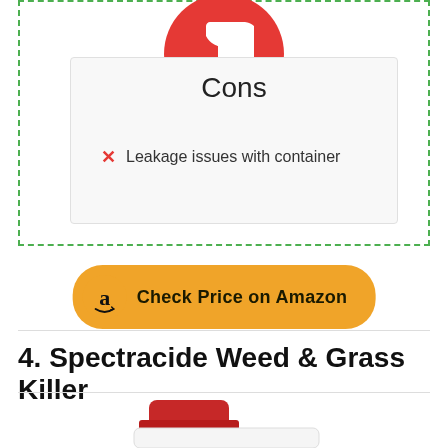[Figure (illustration): Red circle with white thumbs-down icon inside a dashed green border box. A light gray rounded rectangle below contains 'Cons' heading and a red X bullet item.]
Leakage issues with container
[Figure (illustration): Orange rounded button with Amazon logo 'a' and text 'Check Price on Amazon']
4. Spectracide Weed & Grass Killer
[Figure (photo): Partial product photo of Spectracide Weed & Grass Killer bottle with red cap]